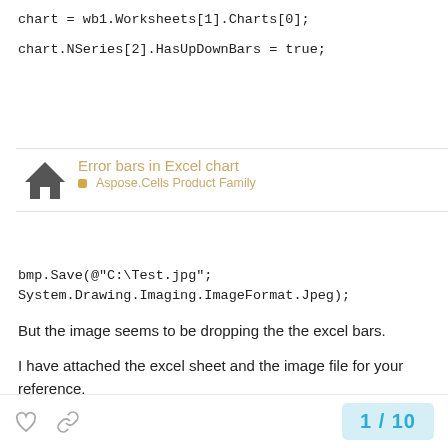chart = wb1.Worksheets[1].Charts[0];
chart.NSeries[2].HasUpDownBars = true;
[Figure (screenshot): Toast/popup overlay showing 'Error bars in Excel chart' title in tan/gold color, with 'Aspose.Cells Product Family' subtitle and a house icon on the left.]
bmp.Save(@"C:\Test.jpg"; System.Drawing.Imaging.ImageFormat.Jpeg);
But the image seems to be dropping the the excel bars.
I have attached the excel sheet and the image file for your reference.
I need to get around this problem ASAP.
Please Help.
Thanks
Swapna
1 / 10